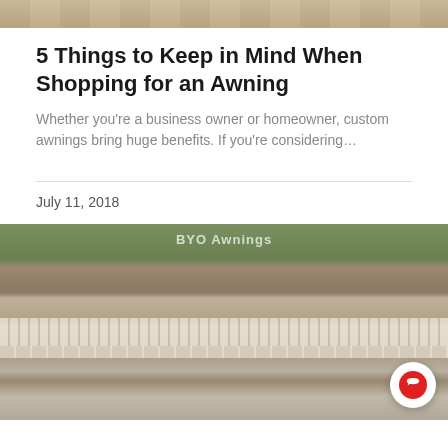[Figure (photo): Partial photo of people at top of page, cropped]
5 Things to Keep in Mind When Shopping for an Awning
Whether you're a business owner or homeowner, custom awnings bring huge benefits. If you're considering…
July 11, 2018
[Figure (photo): Photo of a house with a striped retractable awning extended over patio furniture, with a chat button overlay in the bottom right corner]